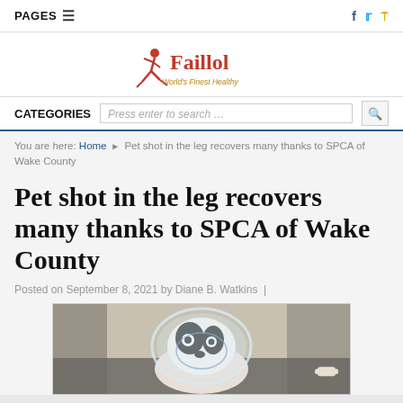PAGES
[Figure (logo): Faillol - World's Finest Healthy logo with running figure in red]
CATEGORIES | Press enter to search...
You are here: Home > Pet shot in the leg recovers many thanks to SPCA of Wake County
Pet shot in the leg recovers many thanks to SPCA of Wake County
Posted on September 8, 2021 by Diane B. Watkins  |
[Figure (photo): A black and white dog wearing an e-collar (cone) sitting in a car]